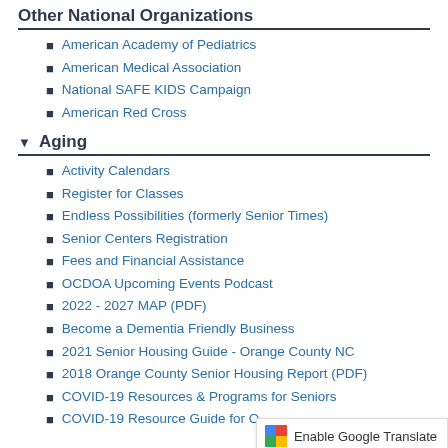Other National Organizations
American Academy of Pediatrics
American Medical Association
National SAFE KIDS Campaign
American Red Cross
▼ Aging
Activity Calendars
Register for Classes
Endless Possibilities (formerly Senior Times)
Senior Centers Registration
Fees and Financial Assistance
OCDOA Upcoming Events Podcast
2022 - 2027 MAP (PDF)
Become a Dementia Friendly Business
2021 Senior Housing Guide - Orange County NC
2018 Orange County Senior Housing Report (PDF)
COVID-19 Resources & Programs for Seniors
COVID-19 Resource Guide for O...